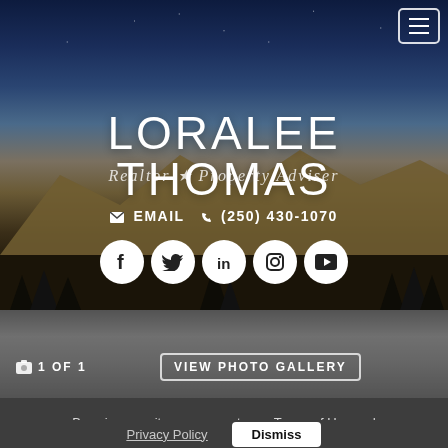[Figure (screenshot): Hero banner with night sky and mountain landscape background. Menu hamburger button top right.]
LORALEE THOMAS
Realtor ★ Property Adviser
✉ EMAIL  ✆ (250) 430-1070
[Figure (infographic): Row of 5 social media circular icon buttons: Facebook, Twitter, LinkedIn, Instagram, YouTube]
[Figure (photo): Partial view of a house roofline with trees, grey sky]
🖼 1 OF 1   VIEW PHOTO GALLERY
By using our site, you agree to our Terms of Use and Privacy Policy
Dismiss